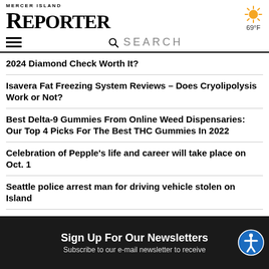MERCER ISLAND REPORTER
69°F
SEARCH
2024 Diamond Check Worth It?
Isavera Fat Freezing System Reviews – Does Cryolipolysis Work or Not?
Best Delta-9 Gummies From Online Weed Dispensaries: Our Top 4 Picks For The Best THC Gummies In 2022
Celebration of Pepple's life and career will take place on Oct. 1
Seattle police arrest man for driving vehicle stolen on Island
Sign Up For Our Newsletters
Subscribe to our e-mail newsletter to receive